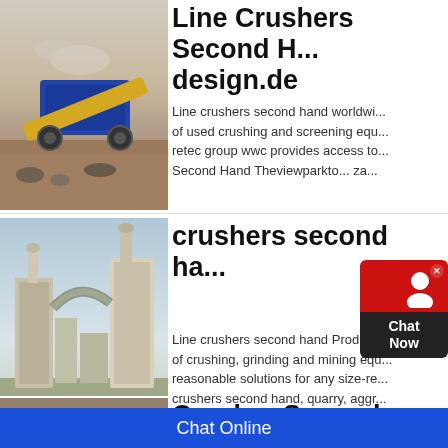[Figure (photo): Mobile crushing machine/conveyor at a quarry site with dust and rocks in background]
Line Crushers Second Hand design.de
Line crushers second hand worldwi... of used crushing and screening equ... retec group wwc provides access to... Second Hand Theviewparkto... za...
[Figure (photo): Industrial milling/grinding equipment with large cylindrical structures and pipes]
crushers second ha...
Line crushers second hand Product... of crushing, grinding and mining equ... reasonable solutions for any size-re... crushers second hand, quarry, aggr... minerals.
[Figure (photo): Quarry or mining site with heavy machinery]
Crusher Second Hand
Chat Online